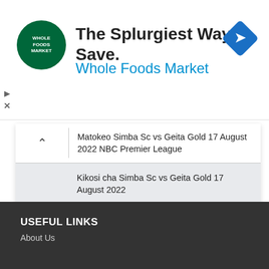[Figure (advertisement): Whole Foods Market advertisement banner with logo, headline 'The Splurgiest Way to Save.' and blue subtext 'Whole Foods Market', plus a blue diamond arrow icon]
Matokeo Simba Sc vs Geita Gold 17 August 2022 NBC Premier League
Kikosi cha Simba Sc vs Geita Gold 17 August 2022
Samatta arejea KRC Genk-Samatta has returned to KRC Genk in Belgium
USEFUL LINKS
About Us